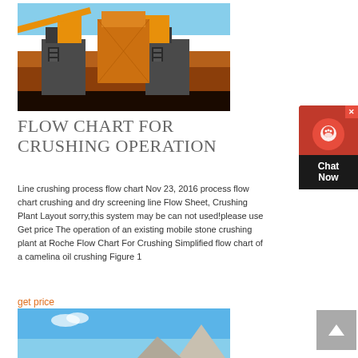[Figure (photo): Industrial stone crushing plant with large yellow machinery and equipment on a red/brown earth construction site]
FLOW CHART FOR CRUSHING OPERATION
Line crushing process flow chart Nov 23, 2016 process flow chart crushing and dry screening line Flow Sheet, Crushing Plant Layout sorry,this system may be can not used!please use Get price The operation of an existing mobile stone crushing plant at Roche Flow Chart For Crushing Simplified flow chart of a camelina oil crushing Figure 1
get price
[Figure (photo): Blue sky with white clouds and a concrete or stone structure in the foreground]